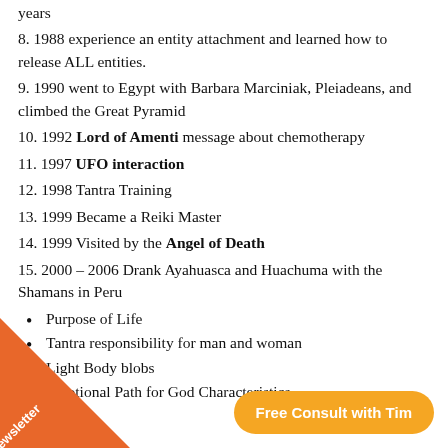years
8. 1988 experience an entity attachment and learned how to release ALL entities.
9. 1990 went to Egypt with Barbara Marciniak, Pleiadeans, and climbed the Great Pyramid
10. 1992 Lord of Amenti message about chemotherapy
11. 1997 UFO interaction
12. 1998 Tantra Training
13. 1999 Became a Reiki Master
14. 1999 Visited by the Angel of Death
15. 2000 – 2006 Drank Ayahuasca and Huachuma with the Shamans in Peru
Purpose of Life
Tantra responsibility for man and woman
Light Body blobs
Emotional Path for God Characteristics